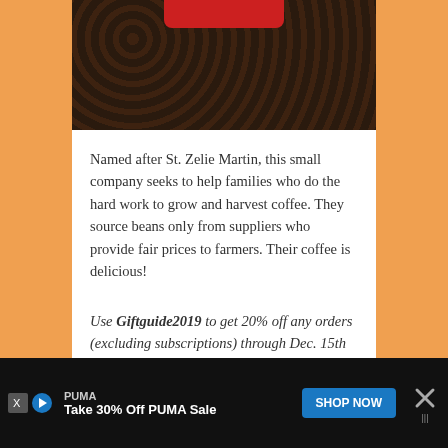[Figure (photo): Top portion of photo showing coffee beans with a red saucer/cup visible at the top]
Named after St. Zelie Martin, this small company seeks to help families who do the hard work to grow and harvest coffee. They source beans only from suppliers who provide fair prices to farmers. Their coffee is delicious!
Use Giftguide2019 to get 20% off any orders (excluding subscriptions) through Dec. 15th
Rakstar Designs
[Figure (photo): White speckled ceramic mug, partially visible at bottom of page]
[Figure (screenshot): Advertisement bar: PUMA - Take 30% Off PUMA Sale - SHOP NOW button with close X button]